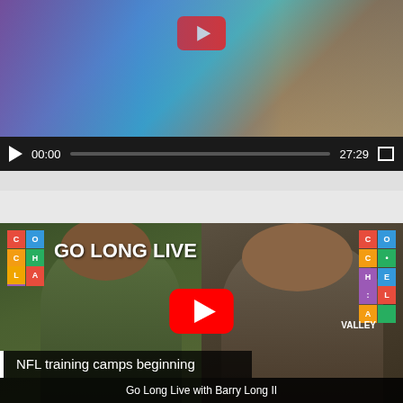[Figure (screenshot): Video player showing outdoor scene with people, YouTube play button visible, video controls bar at bottom showing 00:00 current time and 27:29 duration]
SPORTS – COACHELLAVALLEY.TV
[Figure (screenshot): YouTube video thumbnail for 'Go Long Live' show featuring two men in a split-screen studio setup. Left side shows a man in a green jacket, right side shows a man with long hair. Coachella Valley TV logos visible in both top corners. YouTube play button in center. Subtitle bar reads 'NFL training camps beginning'. Bottom bar reads 'Go Long Live with Barry Long II'.]